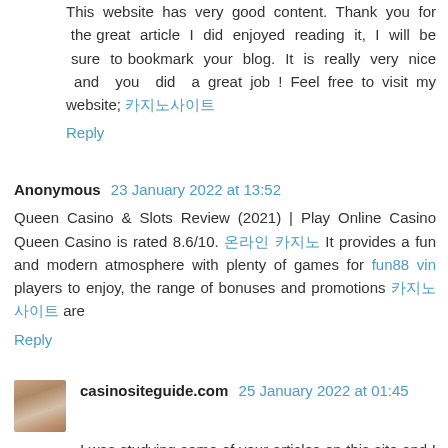This website has very good content. Thank you for the great article I did enjoyed reading it, I will be sure to bookmark your blog. It is really very nice and you did a great job ! Feel free to visit my website; 카지노사이트
Reply
Anonymous 23 January 2022 at 13:52
Queen Casino & Slots Review (2021) | Play Online Casino Queen Casino is rated 8.6/10. 온라인 카지노 It provides a fun and modern atmosphere with plenty of games for fun88 vin players to enjoy, the range of bonuses and promotions 카지노사이트 are
Reply
casinositeguide.com 25 January 2022 at 01:45
I was studying some of your articles on this site and I think this web site is really informative! Keep putting up. 바카라사이트
Reply